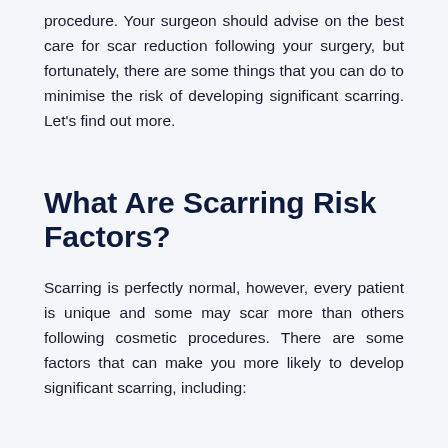procedure. Your surgeon should advise on the best care for scar reduction following your surgery, but fortunately, there are some things that you can do to minimise the risk of developing significant scarring. Let's find out more.
What Are Scarring Risk Factors?
Scarring is perfectly normal, however, every patient is unique and some may scar more than others following cosmetic procedures. There are some factors that can make you more likely to develop significant scarring, including:
Age: Older people are much more likely to develop scarring than younger patients due to them having a lower production of collagen. This is the substance that